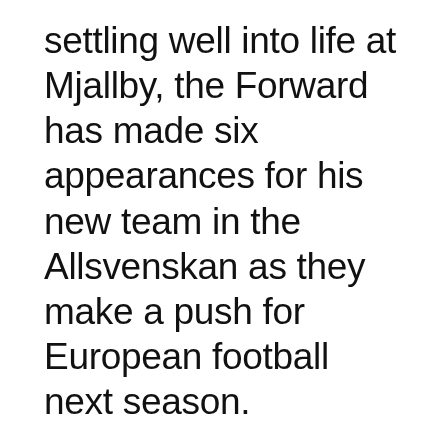settling well into life at Mjallby, the Forward has made six appearances for his new team in the Allsvenskan as they make a push for European football next season.
Nwankwo was second half substitute in Saturday's home game against Varnamo, coming off the bench in the final 20 minutes of the encounter.